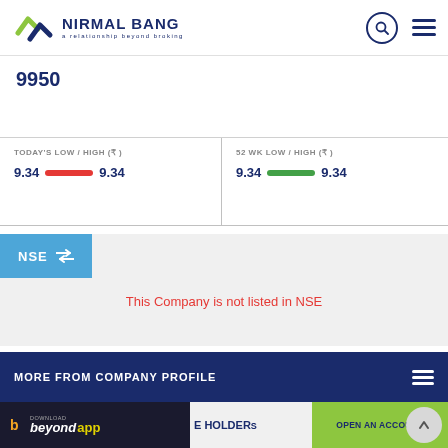[Figure (logo): Nirmal Bang logo with tagline 'a relationship beyond broking']
9950
TODAY'S LOW / HIGH (₹)  9.34 — 9.34
52 WK LOW / HIGH (₹)  9.34 — 9.34
NSE ⇌
This Company is not listed in NSE
MORE FROM COMPANY PROFILE
DOWNLOAD beyond app  E HOLDERS   OPEN AN ACCOUNT